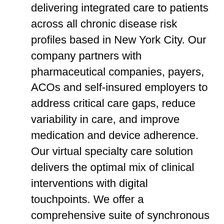delivering integrated care to patients across all chronic disease risk profiles based in New York City. Our company partners with pharmaceutical companies, payers, ACOs and self-insured employers to address critical care gaps, reduce variability in care, and improve medication and device adherence. Our virtual specialty care solution delivers the optimal mix of clinical interventions with digital touchpoints. We offer a comprehensive suite of synchronous and asynchronous disease management capabilities including remote clinical coaching, device training, remote patient monitoring, and telemedicine delivered via a national network of specialty providers. We complement our virtual care capabilities with a robust data and analytics suite to deliver meaningful insights to our partners. By combining information from comprehensive patient medical databases with participant clinical data, we segment patient populations and deliver the